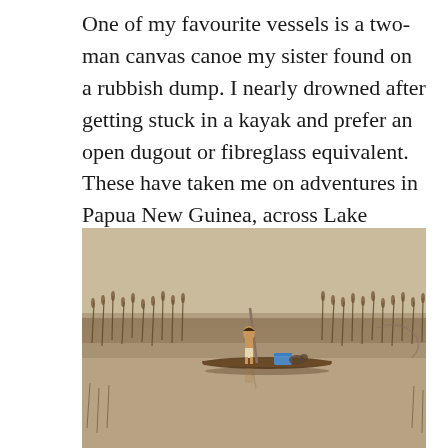One of my favourite vessels is a two-man canvas canoe my sister found on a rubbish dump. I nearly drowned after getting stuck in a kayak and prefer an open dugout or fibreglass equivalent. These have taken me on adventures in Papua New Guinea, across Lake Malawi and through the Okavango Delta in Botswana.
[Figure (photo): A person standing on a wooden mokoro (dugout canoe) in the Okavango Delta, Botswana, using a long pole to punt. A dog or small animal sits on the canoe. Tall dry grass and reeds line the banks. The water reflects the scene. The image has warm, muted, sepia-like tones.]